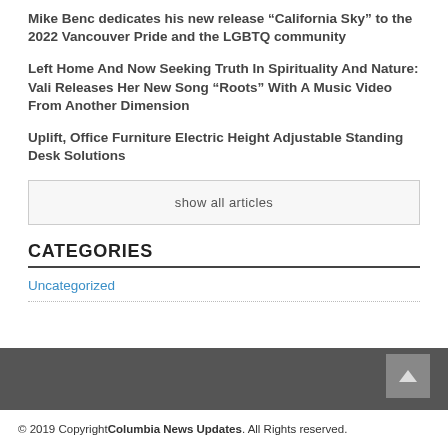Mike Benc dedicates his new release “California Sky” to the 2022 Vancouver Pride and the LGBTQ community
Left Home And Now Seeking Truth In Spirituality And Nature: Vali Releases Her New Song “Roots” With A Music Video From Another Dimension
Uplift, Office Furniture Electric Height Adjustable Standing Desk Solutions
show all articles
CATEGORIES
Uncategorized
© 2019 Copyright Columbia News Updates. All Rights reserved.